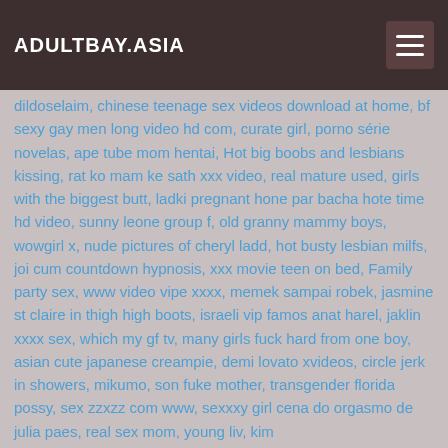ADULTBAY.ASIA
dildoselaim, chinese teenage sex videos download at home, bf sexy gay men long video hd com, curate girl, porno série novelas, ape tube mom hentai, Hot big boobs and lesbians kissing, rat ko mam ke sath xxx video, real mature used, girls with the biggest butt, ladki pregnant hone par bacha hote time hd video, sunny leone group f, old granny mammy boys, wowgirl x, nude pictures of cheryl ladd, hot busty lesbian milfs, joi cum countdown hypnosis, xxx movie teen on bed, Family party sex, www video vipe xxxx, memek sampai robek, jasmine st claire in thigh high boots, israeli vip famos anat harel, jaklin xxxx sex, which my gf tv, many girls fuck hard from one boy, asian cute japanese creampie, demi lovato xvideos, circle jerk in showers, mikumo, son fuke mother, transgender florida possy, sex zzxzz com www, sexxxy girl cena do orgasmo de julia paes, real sex mom, young liv, kim